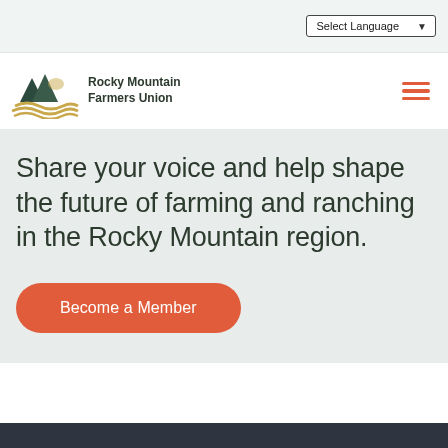Select Language
[Figure (logo): Rocky Mountain Farmers Union logo with mountain and wave illustration]
Share your voice and help shape the future of farming and ranching in the Rocky Mountain region.
Become a Member